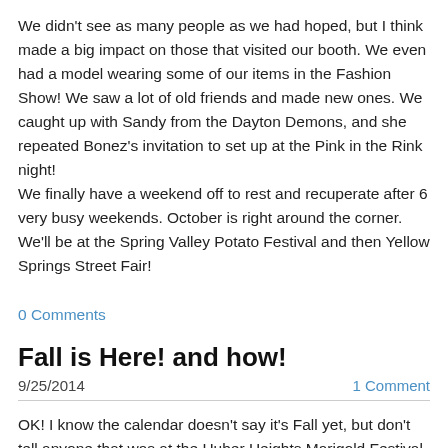We didn't see as many people as we had hoped, but I think made a big impact on those that visited our booth. We even had a model wearing some of our items in the Fashion Show! We saw a lot of old friends and made new ones. We caught up with Sandy from the Dayton Demons, and she repeated Bonez's invitation to set up at the Pink in the Rink night!
We finally have a weekend off to rest and recuperate after 6 very busy weekends. October is right around the corner. We'll be at the Spring Valley Potato Festival and then Yellow Springs Street Fair!
0 Comments
Fall is Here! and how!
9/25/2014   1 Comment
OK! I know the calendar doesn't say it's Fall yet, but don't tell anyone that was at the Huber Heights Marigold Festival. It was a beautiful Fall day! Chilly in the morning, warming up nice in the afternoon, and then chilly again as the sun went down. It was really one of the nicest festivals we have been to. It was only the second year for the festival,